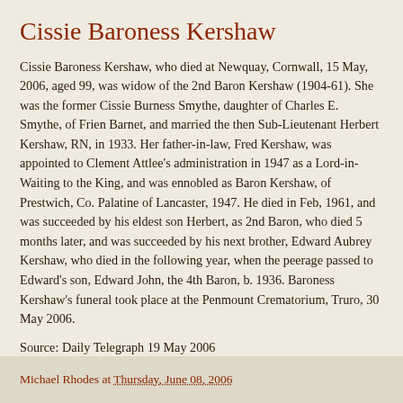Cissie Baroness Kershaw
Cissie Baroness Kershaw, who died at Newquay, Cornwall, 15 May, 2006, aged 99, was widow of the 2nd Baron Kershaw (1904-61). She was the former Cissie Burness Smythe, daughter of Charles E. Smythe, of Frien Barnet, and married the then Sub-Lieutenant Herbert Kershaw, RN, in 1933. Her father-in-law, Fred Kershaw, was appointed to Clement Attlee's administration in 1947 as a Lord-in-Waiting to the King, and was ennobled as Baron Kershaw, of Prestwich, Co. Palatine of Lancaster, 1947. He died in Feb, 1961, and was succeeded by his eldest son Herbert, as 2nd Baron, who died 5 months later, and was succeeded by his next brother, Edward Aubrey Kershaw, who died in the following year, when the peerage passed to Edward's son, Edward John, the 4th Baron, b. 1936. Baroness Kershaw's funeral took place at the Penmount Crematorium, Truro, 30 May 2006.
Source: Daily Telegraph 19 May 2006
Michael Rhodes at Thursday, June 08, 2006